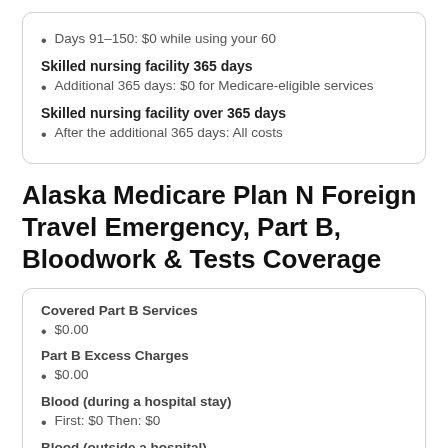Days 91–150: $0 while using your 60
Skilled nursing facility 365 days
Additional 365 days: $0 for Medicare-eligible services
Skilled nursing facility over 365 days
After the additional 365 days: All costs
Alaska Medicare Plan N Foreign Travel Emergency, Part B, Bloodwork & Tests Coverage
Covered Part B Services
$0.00
Part B Excess Charges
$0.00
Blood (during a hospital stay)
First: $0 Then: $0
Blood (outside a hospital)